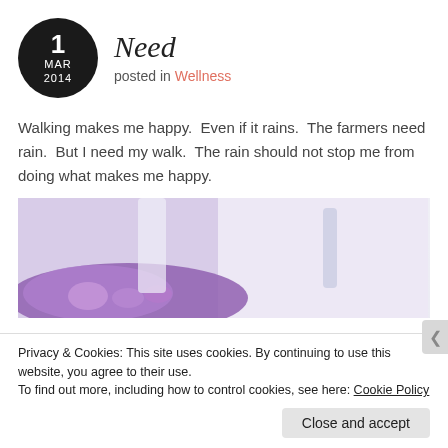Need
posted in Wellness
Walking makes me happy.  Even if it rains.  The farmers need rain.  But I need my walk.  The rain should not stop me from doing what makes me happy.
[Figure (photo): A blurred photo showing a person carrying a colorful purple patterned bag, with a light background]
Privacy & Cookies: This site uses cookies. By continuing to use this website, you agree to their use.
To find out more, including how to control cookies, see here: Cookie Policy
Close and accept